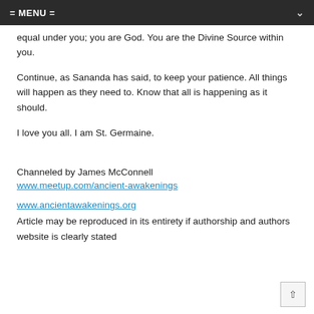= MENU =
equal under you; you are God. You are the Divine Source within you.
Continue, as Sananda has said, to keep your patience. All things will happen as they need to. Know that all is happening as it should.
I love you all. I am St. Germaine.
Channeled by James McConnell
www.meetup.com/ancient-awakenings
www.ancientawakenings.org
Article may be reproduced in its entirety if authorship and authors website is clearly stated